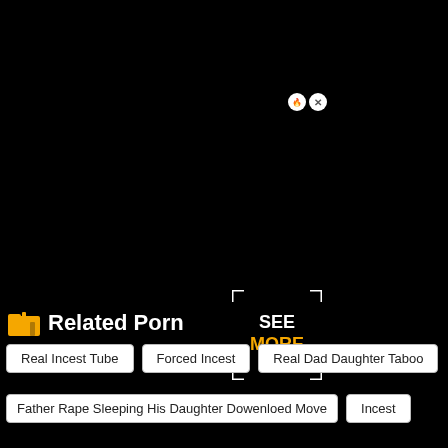[Figure (screenshot): Black video player area with a 'SEE MORE' overlay in the lower right, and two small circular close/info buttons in the top right corner of the ad overlay.]
Related Porn
Real Incest Tube
Forced Incest
Real Dad Daughter Taboo
Father Rape Sleeping His Daughter Dowenloed Move
Incest